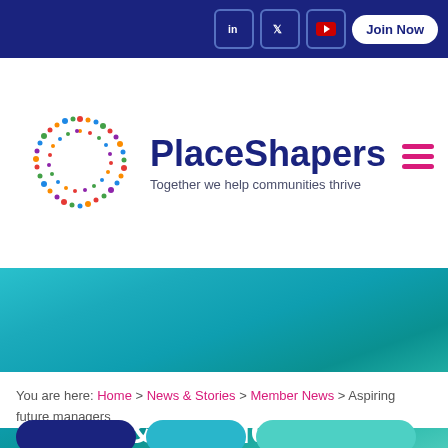LinkedIn | Twitter | YouTube | Join Now
[Figure (logo): PlaceShapers logo: circular arrangement of colorful human figures forming a ring]
PlaceShapers
Together we help communities thrive
[Figure (illustration): Teal-to-green gradient banner background]
News & Stories
You are here: Home > News & Stories > Member News > Aspiring future managers